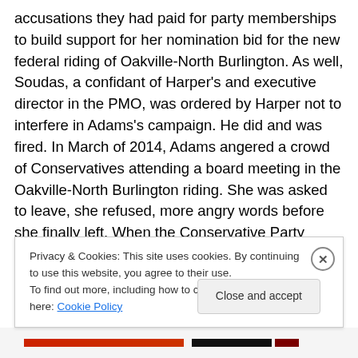accusations they had paid for party memberships to build support for her nomination bid for the new federal riding of Oakville-North Burlington. As well, Soudas, a confidant of Harper's and executive director in the PMO, was ordered by Harper not to interfere in Adams's campaign. He did and was fired. In March of 2014, Adams angered a crowd of Conservatives attending a board meeting in the Oakville-North Burlington riding. She was asked to leave, she refused, more angry words before she finally left. When the Conservative Party finally cleared her to run in the riding, the party was forced to put a halt to the
Privacy & Cookies: This site uses cookies. By continuing to use this website, you agree to their use.
To find out more, including how to control cookies, see here: Cookie Policy
Close and accept